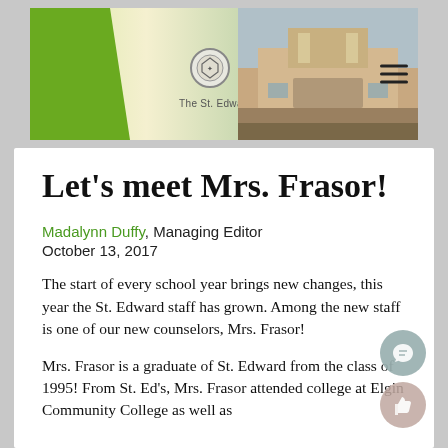[Figure (screenshot): The Edge — The St. Edward High School Newspaper banner header with green logo, shield emblem, frog mascot, and school building photo on the right.]
Let's meet Mrs. Frasor!
Madalynn Duffy, Managing Editor
October 13, 2017
The start of every school year brings new changes, this year the St. Edward staff has grown. Among the new staff is one of our new counselors, Mrs. Frasor!
Mrs. Frasor is a graduate of St. Edward from the class of 1995! From St. Ed's, Mrs. Frasor attended college at Elgin Community College as well as